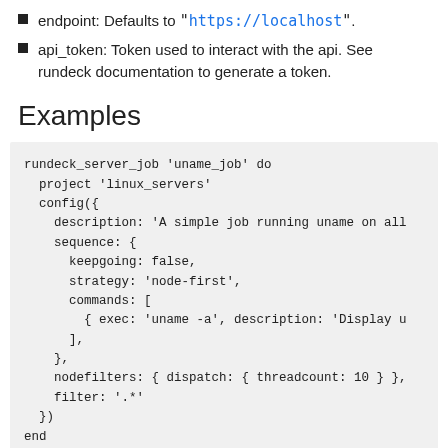endpoint: Defaults to <code>"https://localhost"</code>.
api_token: Token used to interact with the api. See rundeck documentation to generate a token.
Examples
rundeck_server_job 'uname_job' do
  project 'linux_servers'
  config({
    description: 'A simple job running uname on all
    sequence: {
      keepgoing: false,
      strategy: 'node-first',
      commands: [
        { exec: 'uname -a', description: 'Display u
      ],
    },
    nodefilters: { dispatch: { threadcount: 10 } },
    filter: '.*'
  })
end